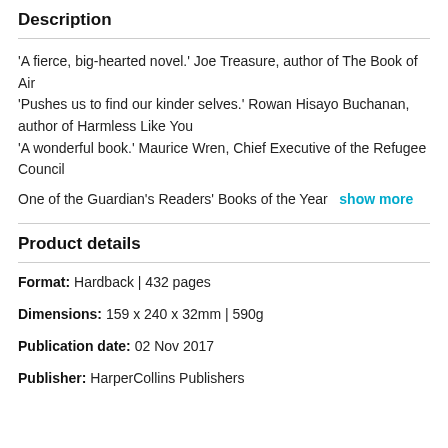Description
'A fierce, big-hearted novel.' Joe Treasure, author of The Book of Air
'Pushes us to find our kinder selves.' Rowan Hisayo Buchanan, author of Harmless Like You
'A wonderful book.' Maurice Wren, Chief Executive of the Refugee Council
One of the Guardian's Readers' Books of the Year  show more
Product details
Format: Hardback | 432 pages
Dimensions: 159 x 240 x 32mm | 590g
Publication date: 02 Nov 2017
Publisher: HarperCollins Publishers